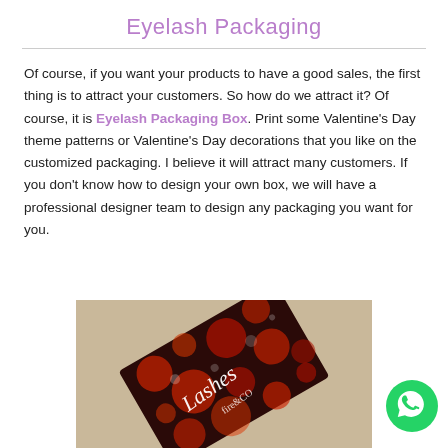Eyelash Packaging
Of course, if you want your products to have a good sales, the first thing is to attract your customers. So how do we attract it? Of course, it is Eyelash Packaging Box. Print some Valentine’s Day theme patterns or Valentine’s Day decorations that you like on the customized packaging. I believe it will attract many customers. If you don’t know how to design your own box, we will have a professional designer team to design any packaging you want for you.
[Figure (photo): Eyelash packaging box with dark red bokeh heart pattern design, branded with 'Lashes' script text and 'fire&CO' text, photographed on a beige background.]